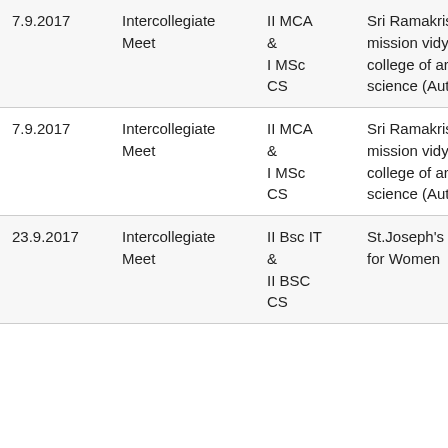| Date | Type | Class | Venue | Event |
| --- | --- | --- | --- | --- |
| 7.9.2017 | Intercollegiate Meet | II MCA & I MSc CS | Sri Ramakrishna mission vidyalaya college of arts and science (Autonomous) | Wordnut(?) |
| 7.9.2017 | Intercollegiate Meet | II MCA & I MSc CS | Sri Ramakrishna mission vidyalaya college of arts and science (Autonomous) | Software Debugging |
| 23.9.2017 | Intercollegiate Meet | II Bsc IT & II BSC CS | St.Joseph's College for Women | Paper Presentation |